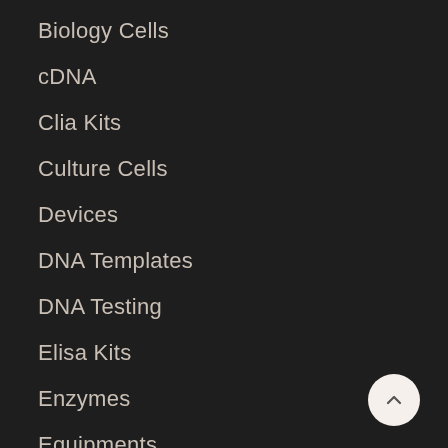Biology Cells
cDNA
Clia Kits
Culture Cells
Devices
DNA Templates
DNA Testing
Elisa Kits
Enzymes
Equipments